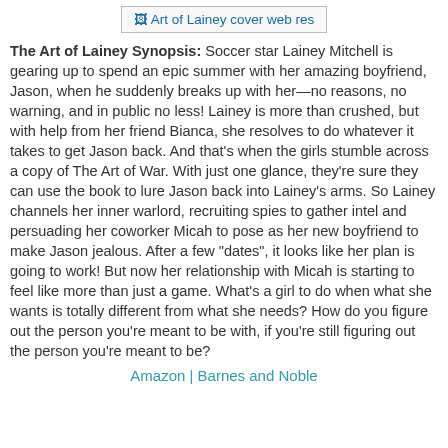[Figure (other): Book cover image placeholder labeled 'Art of Lainey cover web res']
The Art of Lainey Synopsis: Soccer star Lainey Mitchell is gearing up to spend an epic summer with her amazing boyfriend, Jason, when he suddenly breaks up with her—no reasons, no warning, and in public no less! Lainey is more than crushed, but with help from her friend Bianca, she resolves to do whatever it takes to get Jason back. And that's when the girls stumble across a copy of The Art of War. With just one glance, they're sure they can use the book to lure Jason back into Lainey's arms. So Lainey channels her inner warlord, recruiting spies to gather intel and persuading her coworker Micah to pose as her new boyfriend to make Jason jealous. After a few "dates", it looks like her plan is going to work! But now her relationship with Micah is starting to feel like more than just a game. What's a girl to do when what she wants is totally different from what she needs? How do you figure out the person you're meant to be with, if you're still figuring out the person you're meant to be?
Amazon | Barnes and Noble